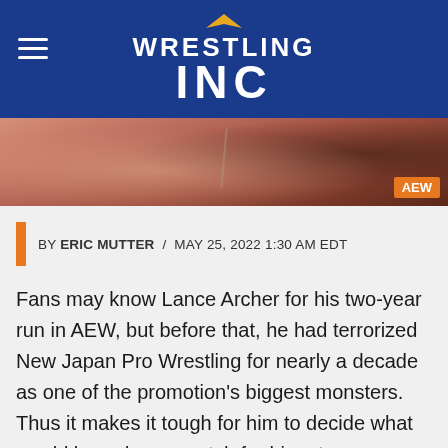WRESTLING INC
[Figure (photo): Close-up photo of a wrestler's neck/chest area showing a tattoo, with AEW badge in bottom right corner]
BY ERIC MUTTER / MAY 25, 2022 1:30 AM EDT
Fans may know Lance Archer for his two-year run in AEW, but before that, he had terrorized New Japan Pro Wrestling for nearly a decade as one of the promotion's biggest monsters. Thus it makes it tough for him to decide what would be a dream match for him at "AEWxNJPW Forbidden Door" this June at the United Center, as he revealed in an interview with NBC Sports Boston.